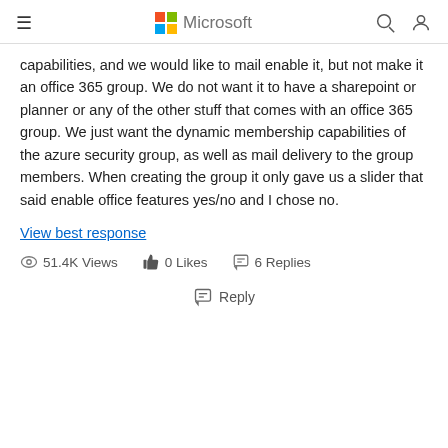Microsoft
capabilities, and we would like to mail enable it, but not make it an office 365 group. We do not want it to have a sharepoint or planner or any of the other stuff that comes with an office 365 group. We just want the dynamic membership capabilities of the azure security group, as well as mail delivery to the group members. When creating the group it only gave us a slider that said enable office features yes/no and I chose no.
View best response
51.4K Views   0 Likes   6 Replies
Reply